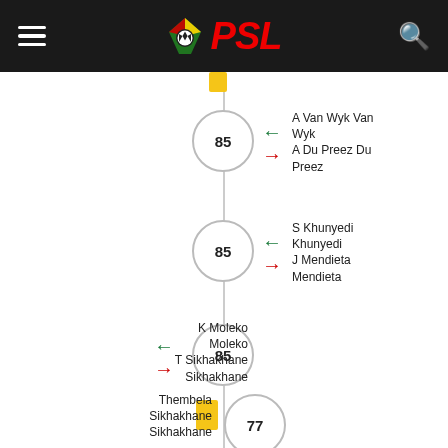PSL
[Figure (infographic): Football match timeline showing substitutions, yellow cards, and goals at minutes 85, 85, 85, 77, and 76. Right side substitutions at 85': A Van Wyk Van Wyk in, A Du Preez Du Preez out; S Khunyedi Khunyedi in, J Mendieta Mendieta out. Left side substitution at 85': K Moleko Moleko in, T Sikhakhane Sikhakhane out. Yellow card at 77': Thembela Sikhakhane Sikhakhane. Goal at 76': Thembela Sikhakhane Sikhakhane.]